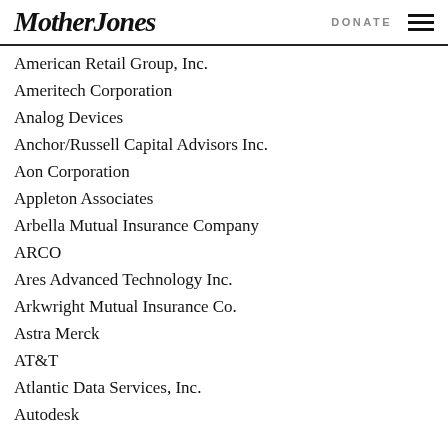Mother Jones | DONATE
American Retail Group, Inc.
Ameritech Corporation
Analog Devices
Anchor/Russell Capital Advisors Inc.
Aon Corporation
Appleton Associates
Arbella Mutual Insurance Company
ARCO
Ares Advanced Technology Inc.
Arkwright Mutual Insurance Co.
Astra Merck
AT&T
Atlantic Data Services, Inc.
Autodesk